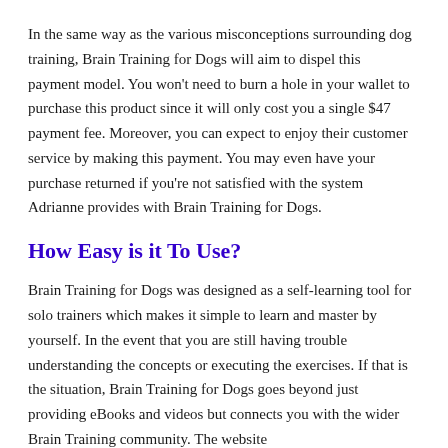In the same way as the various misconceptions surrounding dog training, Brain Training for Dogs will aim to dispel this payment model. You won't need to burn a hole in your wallet to purchase this product since it will only cost you a single $47 payment fee. Moreover, you can expect to enjoy their customer service by making this payment. You may even have your purchase returned if you're not satisfied with the system Adrianne provides with Brain Training for Dogs.
How Easy is it To Use?
Brain Training for Dogs was designed as a self-learning tool for solo trainers which makes it simple to learn and master by yourself. In the event that you are still having trouble understanding the concepts or executing the exercises. If that is the situation, Brain Training for Dogs goes beyond just providing eBooks and videos but connects you with the wider Brain Training community. The website